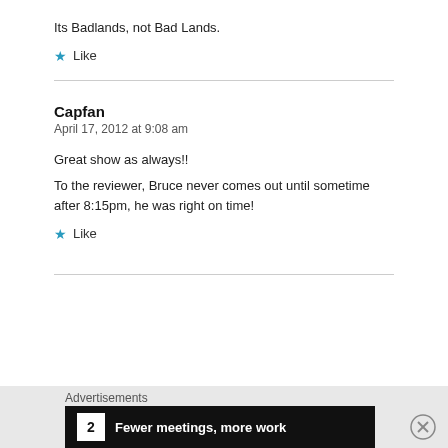Its Badlands, not Bad Lands.
Like
Capfan
April 17, 2012 at 9:08 am
Great show as always!!
To the reviewer, Bruce never comes out until sometime after 8:15pm, he was right on time!
Like
Advertisements
Fewer meetings, more work